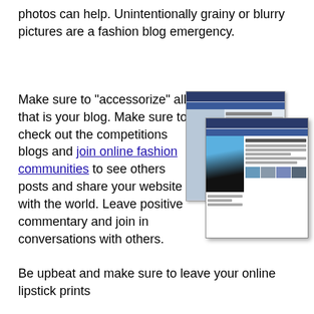photos can help. Unintentionally grainy or blurry pictures are a fashion blog emergency.
[Figure (screenshot): Two overlapping screenshots of a fashion blog website showing a woman in a blue dress with black leggings, blog navigation and thumbnail images]
Make sure to "accessorize" all that is your blog. Make sure to check out the competitions blogs and join online fashion communities to see others posts and share your website with the world. Leave positive commentary and join in conversations with others.
Be upbeat and make sure to leave your online lipstick prints everywhere with diligence, media, time and hard